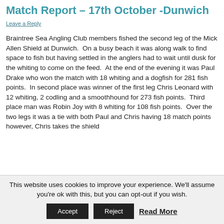Match Report – 17th October -Dunwich
Leave a Reply
Braintree Sea Angling Club members fished the second leg of the Mick Allen Shield at Dunwich.  On a busy beach it was along walk to find space to fish but having settled in the anglers had to wait until dusk for the whiting to come on the feed.  At the end of the evening it was Paul Drake who won the match with 18 whiting and a dogfish for 281 fish points.  In second place was winner of the first leg Chris Leonard with 12 whiting, 2 codling and a smoothhound for 273 fish points.  Third place man was Robin Joy with 8 whiting for 108 fish points.  Over the two legs it was a tie with both Paul and Chris having 18 match points however, Chris takes the shield
This website uses cookies to improve your experience. We'll assume you're ok with this, but you can opt-out if you wish. Accept Reject Read More